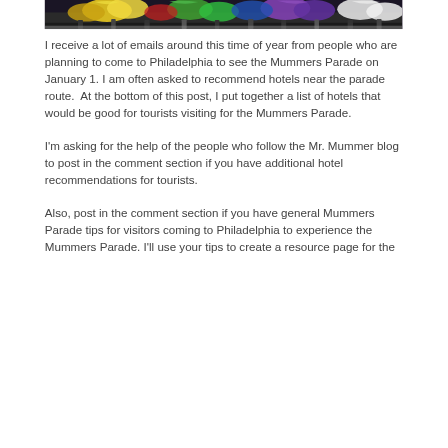[Figure (photo): A colorful photo of Mummers Parade participants in elaborate costumes with bright yellow, green, purple and white outfits marching in the street.]
I receive a lot of emails around this time of year from people who are planning to come to Philadelphia to see the Mummers Parade on January 1. I am often asked to recommend hotels near the parade route. At the bottom of this post, I put together a list of hotels that would be good for tourists visiting for the Mummers Parade.
I'm asking for the help of the people who follow the Mr. Mummer blog to post in the comment section if you have additional hotel recommendations for tourists.
Also, post in the comment section if you have general Mummers Parade tips for visitors coming to Philadelphia to experience the Mummers Parade. I'll use your tips to create a resource page for the